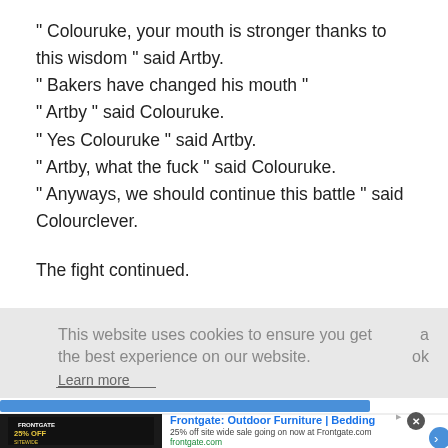" Colouruke, your mouth is stronger thanks to this wisdom " said Artby. " Bakers have changed his mouth " " Artby " said Colouruke. " Yes Colouruke " said Artby. " Artby, what the fuck " said Colouruke. " Anyways, we should continue this battle " said Colourclever.

The fight continued.
[Figure (screenshot): Cookie consent banner with text 'This website uses cookies to ensure you get the best experience on our website.' and a 'Learn more' link, partially obscuring underlying page content.]
[Figure (screenshot): Advertisement banner for Frontgate Outdoor Furniture and Bedding with '25% off site wide sale' text, frontgate.com URL, product image showing '25% OFF SITEWIDE', close button, and navigation arrow button.]